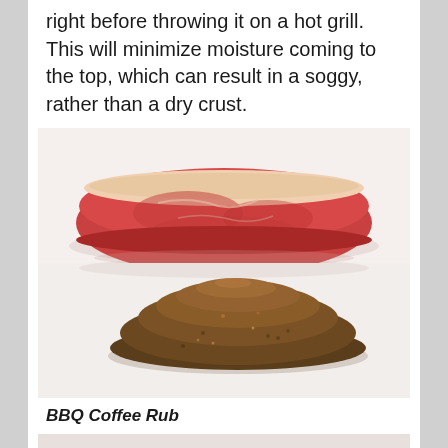right before throwing it on a hot grill. This will minimize moisture coming to the top, which can result in a soggy, rather than a dry crust.
[Figure (photo): Raw beef steak on white background above a pile of dark coffee spice rub powder]
BBQ Coffee Rub
[Figure (photo): Close-up of raw steak with dark coffee rub applied on top]